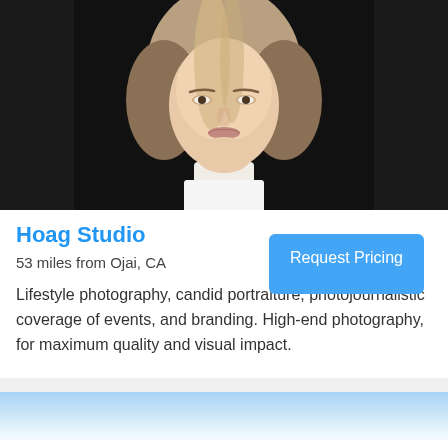[Figure (photo): Professional portrait photo of a woman with straight blonde/light brown hair against a dark/black background, wearing a white top. Photo is cropped from mid-chest up.]
Hoag Studio
53 miles from Ojai, CA
Request Pricing
Lifestyle photography, candid portraiture, photojournalistic coverage of events, and branding. High-end photography, for maximum quality and visual impact.
[Figure (photo): Partial view of another photo at bottom of page, showing a light blue sky background.]